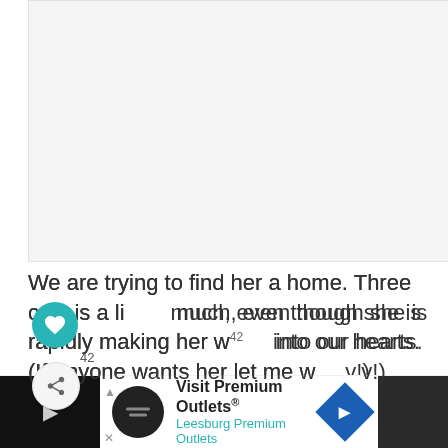[Figure (photo): Blank/light gray image area placeholder for a photo (cat or animal photo)]
We are trying to find her a home. Three cats is a little much, even though she is rapidly making her way into our hearts. (If anyone wants her let me know!)
[Figure (infographic): Advertisement bar: Visit Premium Outlets® Leesburg Premium Outlets with logo, navigation arrow icon, and dark right panel]